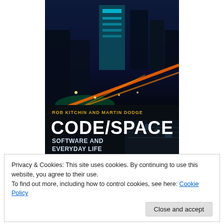[Figure (photo): Book cover of 'Code/Space: Software and Everyday Life' by Rob Kitchin and Martin Dodge. Features a night cityscape with light trails from traffic, skyscrapers lit in blue/teal, and a circuit board in the lower right. Title 'CODE/SPACE' in large white letters, subtitle 'SOFTWARE AND EVERYDAY LIFE' below, authors listed at top in orange text.]
Privacy & Cookies: This site uses cookies. By continuing to use this website, you agree to their use.
To find out more, including how to control cookies, see here: Cookie Policy
Close and accept
I've been reading Rob Kitchin and Martin Dodge's